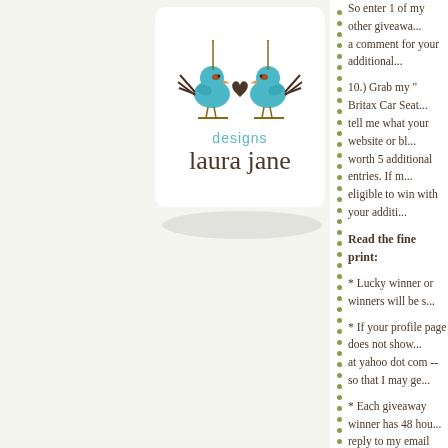[Figure (logo): Laura Jane Designs logo featuring two teal birds on branches with a heart, white rounded square background, cursive 'laura jane' script below 'designs' text in teal]
So enter 1 of my other giveawa... a comment for your additional...
10.) Grab my " Britax Car Seat... tell me what your website or bl... worth 5 additional entries. If m... eligible to win with your additi...
Read the fine print:
* Lucky winner or winners will be s...
* If your profile page does not show... at yahoo dot com -- so that I may ge...
* Each giveaway winner has 48 hou... reply to my email within 48 hours, I...
* I do contact each winner via email... original post of that giveaway. Once... picked. You will be able to see whic... the giveaway winner is.
*I received a free product (or produ... my own and not influenced in anywa... views and experiences with the prod...